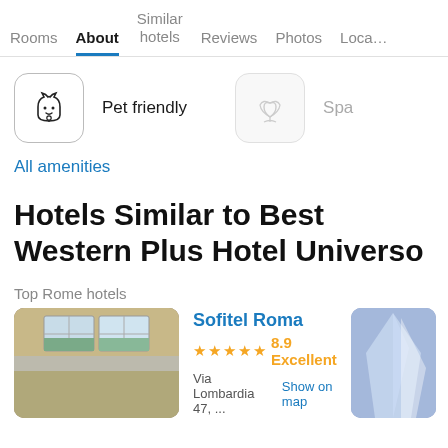Rooms | About | Similar hotels | Reviews | Photos | Loca…
[Figure (infographic): Pet friendly amenity icon — dog head in rounded square box]
Pet friendly
[Figure (infographic): Spa amenity icon — lotus flower in rounded square box (inactive/greyed)]
Spa
All amenities
Hotels Similar to Best Western Plus Hotel Universo
Top Rome hotels
Sofitel Roma
★ ★ ★ ★ ★ 8.9 Excellent
Via Lombardia 47, ...    Show on map